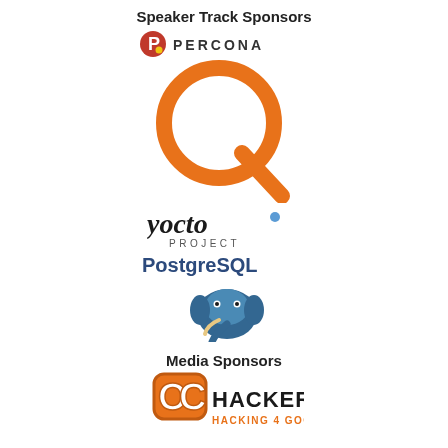Speaker Track Sponsors
[Figure (logo): Percona logo - red circle P icon with yellow dot, text PERCONA in spaced caps]
[Figure (logo): Large orange Q logo mark]
[Figure (logo): Yocto Project logo - yocto in dark lowercase with blue dot, PROJECT in caps below]
[Figure (logo): PostgreSQL logo - text PostgreSQL with blue elephant head icon below]
Media Sponsors
[Figure (logo): OC Hackerz logo - orange OC letters badge, HACKERZ text, HACKING 4 GOOD tagline]